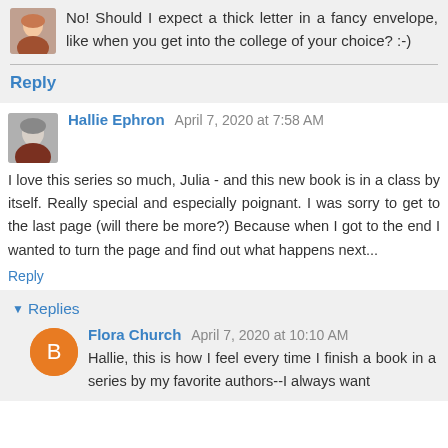No! Should I expect a thick letter in a fancy envelope, like when you get into the college of your choice? :-)
Reply
Hallie Ephron April 7, 2020 at 7:58 AM
I love this series so much, Julia - and this new book is in a class by itself. Really special and especially poignant. I was sorry to get to the last page (will there be more?) Because when I got to the end I wanted to turn the page and find out what happens next...
Reply
Replies
Flora Church April 7, 2020 at 10:10 AM
Hallie, this is how I feel every time I finish a book in a series by my favorite authors--I always want